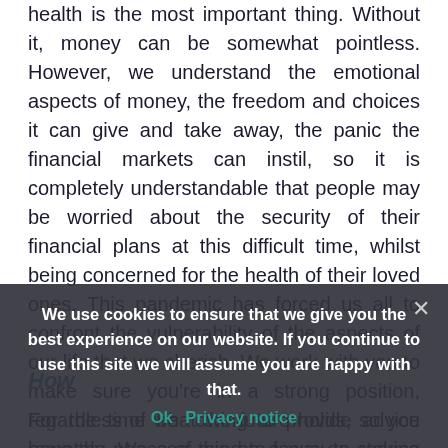health is the most important thing. Without it, money can be somewhat pointless. However, we understand the emotional aspects of money, the freedom and choices it can give and take away, the panic the financial markets can instil, so it is completely understandable that people may be worried about the security of their financial plans at this difficult time, whilst being concerned for the health of their loved ones. This pandemic has forced us all to confront the vulnerability of the aspects of our life that we cherish. We work with you to make sure you're in a strong position, regardless of what the future holds, so you have the peace of mind to focus on staying safe and making the most of each d...
How we are working
For the time being, we are continuing to provide advice remotely. We see this as a way to reduce the
We use cookies to ensure that we give you the best experience on our website. If you continue to use this site we will assume you are happy with that.